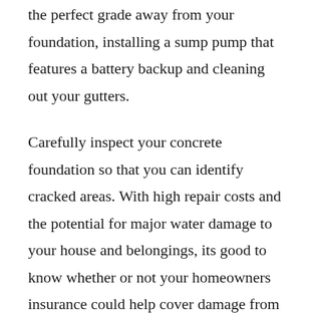the perfect grade away from your foundation, installing a sump pump that features a battery backup and cleaning out your gutters.
Carefully inspect your concrete foundation so that you can identify cracked areas. With high repair costs and the potential for major water damage to your house and belongings, its good to know whether or not your homeowners insurance could help cover damage from slab leaks. For foundation repair to be successful, point of refusal must be met. Broken, leaky pipelines in your homes foundation could become this too.